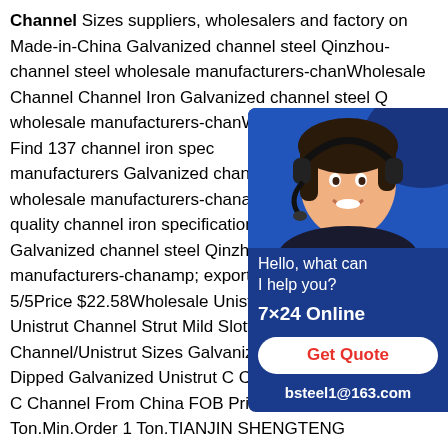Channel Sizes suppliers, wholesalers and factory on Made-in-China Galvanized channel steel Qinzhou-channel steel wholesale manufacturers-chanWholesale Channel Channel Iron Galvanized channel steel Q wholesale manufacturers-chanWholesale Specification Find 137 channel iron spec manufacturers Galvanized channel steel wholesale manufacturers-chanamp; supp quality channel iron specification manufa Galvanized channel steel Qinzhou-chann manufacturers-chanamp; exporters now 5/5Price $22.58Wholesale Unistrut Channel,Wholesale Unistrut Channel Strut Mild Slotted Channel/Metal U Channel/Unistrut Sizes Galvanized Structural Hot Dipped Galvanized Unistrut C Channel Steel Perforated C Channel From China FOB Price US $ 600-800 / Ton.Min.Order 1 Ton.TIANJIN SHENGTENG INTERNATIONAL TRADING CO.,LTD.
[Figure (illustration): Customer service chat widget with a photo of a woman wearing a headset, text 'Hello, what can I help you?', '7×24 Online', a 'Get Quote' button, and email 'bsteel1@163.com' on a dark blue background.]